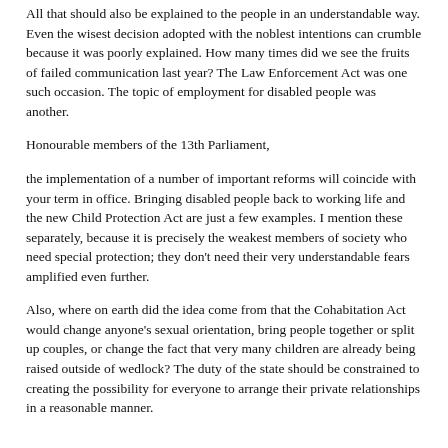All that should also be explained to the people in an understandable way. Even the wisest decision adopted with the noblest intentions can crumble because it was poorly explained. How many times did we see the fruits of failed communication last year? The Law Enforcement Act was one such occasion. The topic of employment for disabled people was another.
Honourable members of the 13th Parliament,
the implementation of a number of important reforms will coincide with your term in office. Bringing disabled people back to working life and the new Child Protection Act are just a few examples. I mention these separately, because it is precisely the weakest members of society who need special protection; they don't need their very understandable fears amplified even further.
Also, where on earth did the idea come from that the Cohabitation Act would change anyone's sexual orientation, bring people together or split up couples, or change the fact that very many children are already being raised outside of wedlock? The duty of the state should be constrained to creating the possibility for everyone to arrange their private relationships in a reasonable manner.